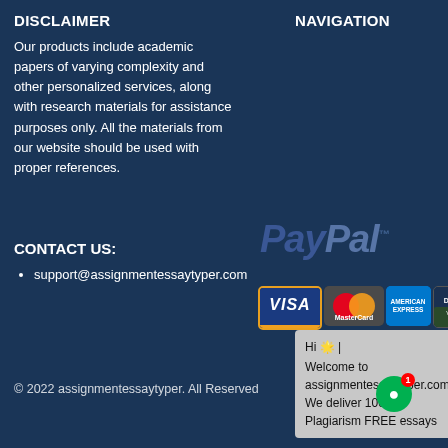DISCLAIMER
Our products include academic papers of varying complexity and other personalized services, along with research materials for assistance purposes only. All the materials from our website should be used with proper references.
NAVIGATION
CONTACT US:
support@assignmentessaytyper.com
[Figure (logo): PayPal logo watermark in blue]
[Figure (other): Payment card logos: Visa, MasterCard, American Express, Discover]
[Figure (screenshot): Chat popup: Hi! Welcome to assignmentessaytyper.com. We deliver 100% Plagiarism FREE essays]
© 2022 assignmentessaytyper. All Reserved